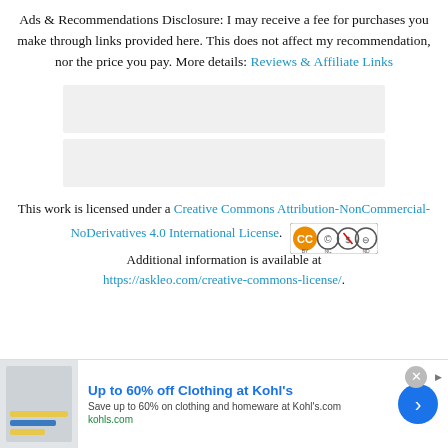Ads & Recommendations Disclosure: I may receive a fee for purchases you make through links provided here. This does not affect my recommendation, nor the price you pay. More details: Reviews & Affiliate Links
[Figure (other): Gray placeholder rectangle for an advertisement]
[Figure (other): Gray placeholder rectangle for a second advertisement]
This work is licensed under a Creative Commons Attribution-NonCommercial-NoDerivatives 4.0 International License. Additional information is available at https://askleo.com/creative-commons-license/.
[Figure (other): Creative Commons BY NC ND license badge]
Up to 60% off Clothing at Kohl's
Save up to 60% on clothing and homeware at Kohl's.com
kohls.com